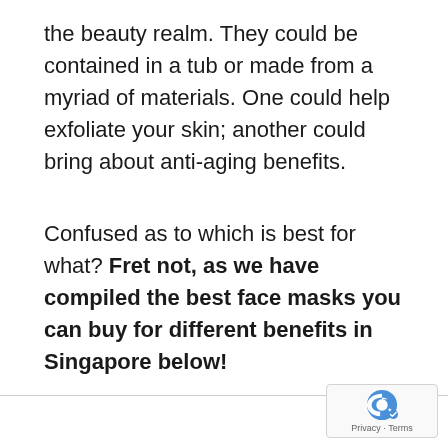the beauty realm. They could be contained in a tub or made from a myriad of materials. One could help exfoliate your skin; another could bring about anti-aging benefits.
Confused as to which is best for what? Fret not, as we have compiled the best face masks you can buy for different benefits in Singapore below!
[Figure (other): reCAPTCHA badge with logo and Privacy/Terms links]